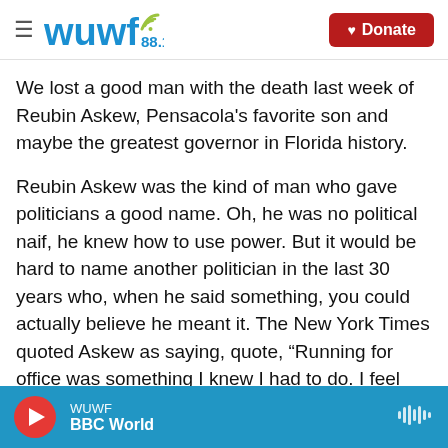[Figure (screenshot): WUWF 88.1 radio station logo with wifi signal icon and Donate button in dark red]
We lost a good man with the death last week of Reubin Askew, Pensacola's favorite son and maybe the greatest governor in Florida history.
Reubin Askew was the kind of man who gave politicians a good name. Oh, he was no political naif, he knew how to use power. But it would be hard to name another politician in the last 30 years who, when he said something, you could actually believe he meant it. The New York Times quoted Askew as saying, quote, “Running for office was something I knew I had to do. I feel God has plans for the world and men. If I had any talent, I had to
WUWF · BBC World